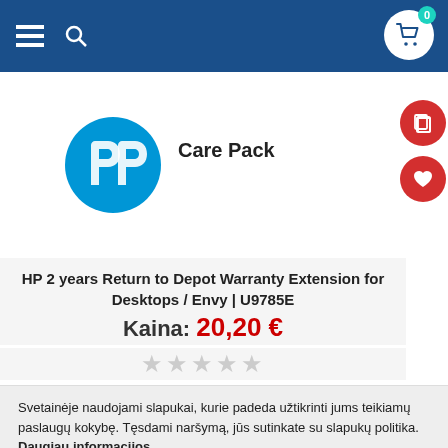Navigation bar with menu, search, and cart (0 items)
[Figure (logo): HP Care Pack logo - HP blue circle logo with 'Care Pack' text in bold]
HP 2 years Return to Depot Warranty Extension for Desktops / Envy | U9785E
Kaina: 20,20 €
★★★★★ (empty stars rating)
Svetainėje naudojami slapukai, kurie padeda užtikrinti jums teikiamų paslaugų kokybę. Tęsdami naršymą, jūs sutinkate su slapukų politika. Daugiau informacijos
SUTINKU